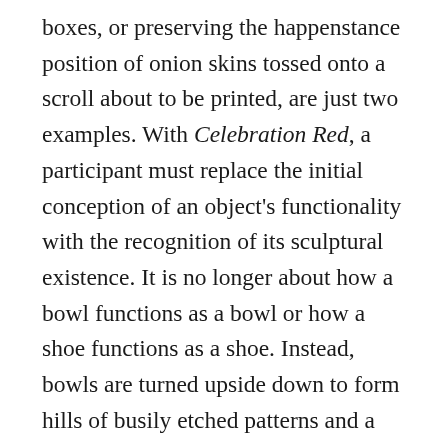boxes, or preserving the happenstance position of onion skins tossed onto a scroll about to be printed, are just two examples. With Celebration Red, a participant must replace the initial conception of an object's functionality with the recognition of its sculptural existence. It is no longer about how a bowl functions as a bowl or how a shoe functions as a shoe. Instead, bowls are turned upside down to form hills of busily etched patterns and a red boot transforms into a vessel to hold a wigged, Muppet-like creature of red tinsel. And with hosting the grid in the generous space of the Hall of Sculpture, there was no shortage of possible additions or rearrangements of these